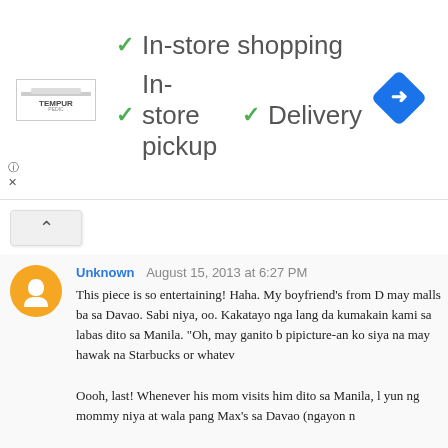[Figure (screenshot): Advertisement banner with Tempur-Pedic logo and green checkmarks showing In-store shopping, In-store pickup, and Delivery options with a blue navigation arrow icon]
ⓘ
✕
[Figure (other): Collapse/expand button with upward caret symbol]
Unknown   August 15, 2013 at 6:27 PM
This piece is so entertaining! Haha. My boyfriend's from D may malls ba sa Davao. Sabi niya, oo. Kakatayo nga lang da kumakain kami sa labas dito sa Manila. "Oh, may ganito b pipicture-an ko siya na may hawak na Starbucks or whatev
Oooh, last! Whenever his mom visits him dito sa Manila, l yun ng mommy niya at wala pang Max's sa Davao (ngayon n
Anyway, been to Davao twice, and I love it <3
Reply
dhelrajsoldilangalen   August 21, 2013 at 10:55 AM
..yung EX ko taga manila... when i visited her family to pa